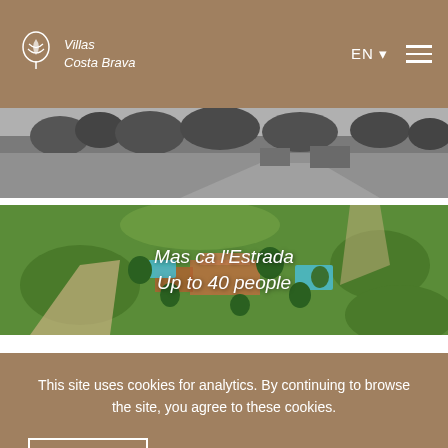Villas Costa Brava — EN
[Figure (photo): Aerial grayscale photo of property and surrounding landscape]
[Figure (photo): Aerial color photo of Mas ca l'Estrada villa with pool and green fields]
Mas ca l'Estrada
Up to 40 people
This site uses cookies for analytics. By continuing to browse the site, you agree to these cookies.
OK
View more